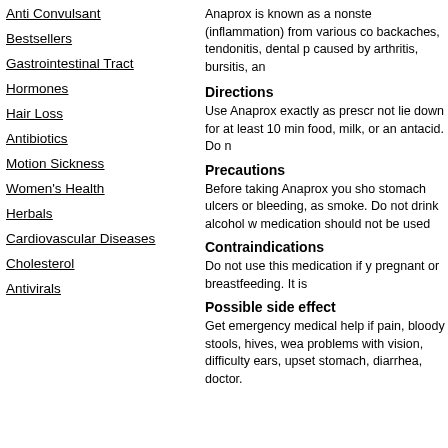Anti Convulsant
Bestsellers
Gastrointestinal Tract
Hormones
Hair Loss
Antibiotics
Motion Sickness
Women's Health
Herbals
Cardiovascular Diseases
Cholesterol
Antivirals
Anaprox is known as a nonste (inflammation) from various co backaches, tendonitis, dental p caused by arthritis, bursitis, an
Directions
Use Anaprox exactly as prescr not lie down for at least 10 min food, milk, or an antacid. Do n
Precautions
Before taking Anaprox you sho stomach ulcers or bleeding, as smoke. Do not drink alcohol w medication should not be used
Contraindications
Do not use this medication if y pregnant or breastfeeding. It is
Possible side effect
Get emergency medical help if pain, bloody stools, hives, wea problems with vision, difficulty ears, upset stomach, diarrhea, doctor.